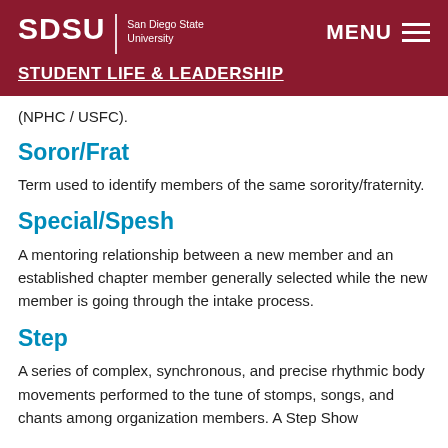SDSU | San Diego State University — STUDENT LIFE & LEADERSHIP — MENU
(NPHC / USFC).
Soror/Frat
Term used to identify members of the same sorority/fraternity.
Special/Spesh
A mentoring relationship between a new member and an established chapter member generally selected while the new member is going through the intake process.
Step
A series of complex, synchronous, and precise rhythmic body movements performed to the tune of stomps, songs, and...